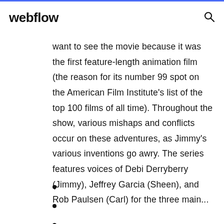webflow
want to see the movie because it was the first feature-length animation film (the reason for its number 99 spot on the American Film Institute's list of the top 100 films of all time). Throughout the show, various mishaps and conflicts occur on these adventures, as Jimmy's various inventions go awry. The series features voices of Debi Derryberry (Jimmy), Jeffrey Garcia (Sheen), and Rob Paulsen (Carl) for the three main...